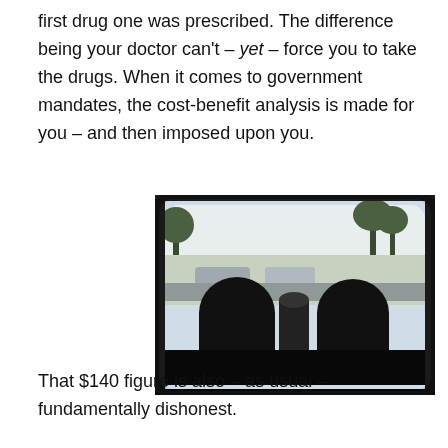first drug one was prescribed. The difference being your doctor can't – yet – force you to take the drugs. When it comes to government mandates, the cost-benefit analysis is made for you – and then imposed upon you.
[Figure (photo): View from inside a vehicle looking out the rear window. Two dark silhouetted headrests are visible against a bright background showing palm trees, parked cars, and buildings.]
That $140 figure is also – as usual – fundamentally dishonest.